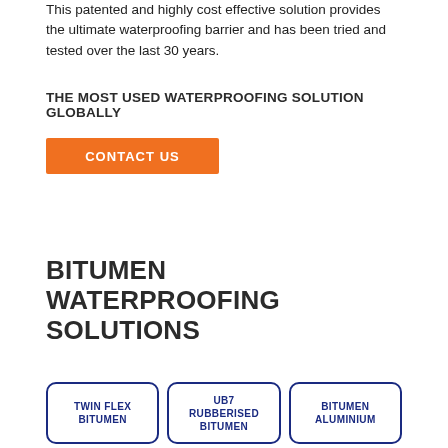This patented and highly cost effective solution provides the ultimate waterproofing barrier and has been tried and tested over the last 30 years.
THE MOST USED WATERPROOFING SOLUTION GLOBALLY
[Figure (other): Orange 'CONTACT US' button]
BITUMEN WATERPROOFING SOLUTIONS
TWIN FLEX BITUMEN
UB7 RUBBERISED BITUMEN
BITUMEN ALUMINIUM